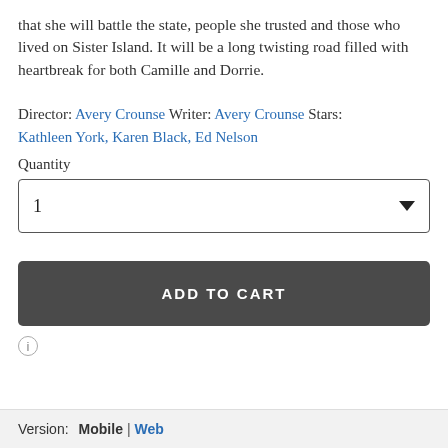that she will battle the state, people she trusted and those who lived on Sister Island. It will be a long twisting road filled with heartbreak for both Camille and Dorrie.
Director: Avery Crounse Writer: Avery Crounse Stars: Kathleen York, Karen Black, Ed Nelson
Quantity
[Figure (other): Quantity dropdown selector showing value 1 with a dropdown arrow]
[Figure (other): Add to Cart button, dark gray background with white uppercase text]
[Figure (other): Information icon, circular with lowercase i]
Version: Mobile | Web